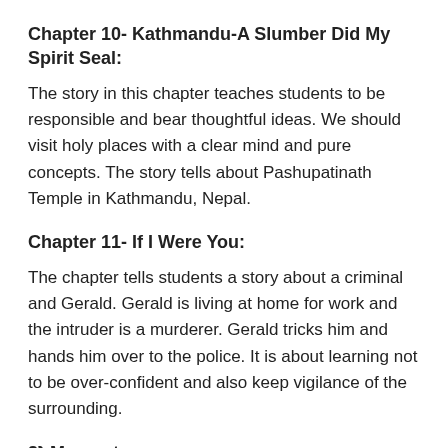Chapter 10- Kathmandu-A Slumber Did My Spirit Seal:
The story in this chapter teaches students to be responsible and bear thoughtful ideas. We should visit holy places with a clear mind and pure concepts. The story tells about Pashupatinath Temple in Kathmandu, Nepal.
Chapter 11- If I Were You:
The chapter tells students a story about a criminal and Gerald. Gerald is living at home for work and the intruder is a murderer. Gerald tricks him and hands him over to the police. It is about learning not to be over-confident and also keep vigilance of the surrounding.
2} Moments –